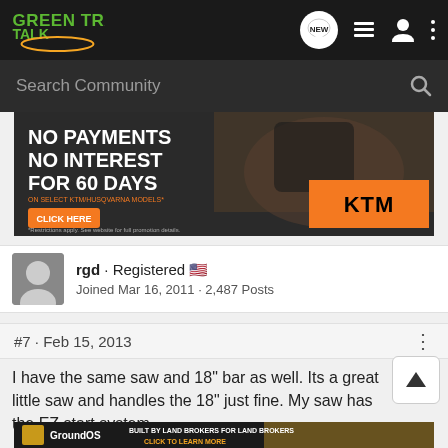Green Tractor Talk — Navigation header with logo, NEW button, list icon, user icon, more icon
Search Community
[Figure (photo): KTM motorcycle advertisement: NO PAYMENTS NO INTEREST FOR 60 DAYS on select KTM/Husqvarna models. CLICK HERE button. Rider on dirt bike in background. KTM logo on orange box. Restrictions apply note.]
rgd · Registered 🇺🇸
Joined Mar 16, 2011 · 2,487 Posts
#7 · Feb 15, 2013
I have the same saw and 18" bar as well. Its a great little saw and handles the 18" just fine. My saw has the EZ start system...
[Figure (photo): GroundOS advertisement: Built by Land Brokers for Land Brokers. CLICK TO LEARN MORE. Gold/yellow wheat field background.]